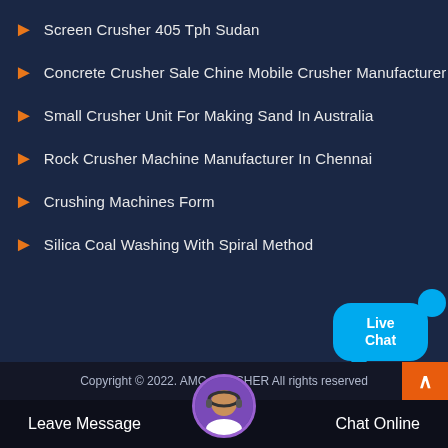Screen Crusher 405 Tph Sudan
Concrete Crusher Sale Chine Mobile Crusher Manufacturer
Small Crusher Unit For Making Sand In Australia
Rock Crusher Machine Manufacturer In Chennai
Crushing Machines Form
Silica Coal Washing With Spiral Method
[Figure (illustration): Live Chat widget bubble with cyan/blue color and close button]
Copyright © 2022. AMC CRUSHER All rights reserved
[Figure (photo): Customer service avatar with headset]
Leave Message
Chat Online